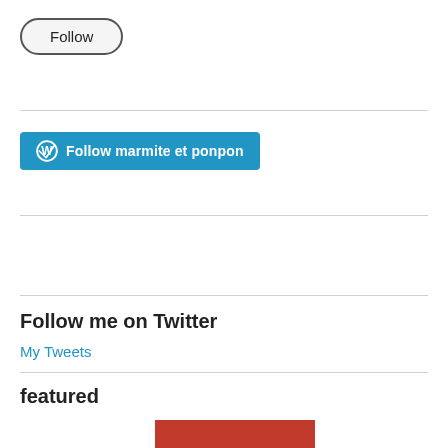Follow
Follow marmite et ponpon
Follow me on Twitter
My Tweets
featured
[Figure (photo): Red image block partially visible at bottom of page]